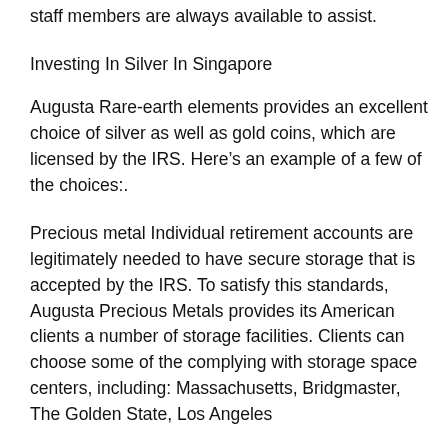staff members are always available to assist.
Investing In Silver In Singapore
Augusta Rare-earth elements provides an excellent choice of silver as well as gold coins, which are licensed by the IRS. Here’s an example of a few of the choices:.
Precious metal Individual retirement accounts are legitimately needed to have secure storage that is accepted by the IRS. To satisfy this standards, Augusta Precious Metals provides its American clients a number of storage facilities. Clients can choose some of the complying with storage space centers, including: Massachusetts, Bridgmaster, The Golden State, Los Angeles